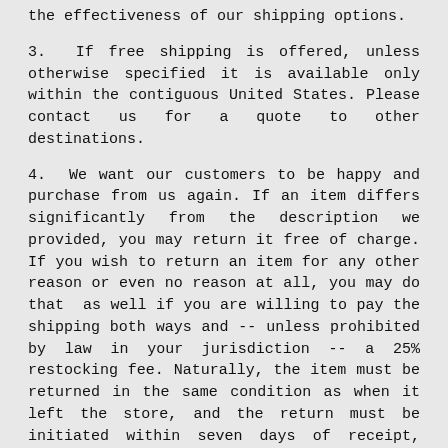the effectiveness of our shipping options.
3. If free shipping is offered, unless otherwise specified it is available only within the contiguous United States. Please contact us for a quote to other destinations.
4. We want our customers to be happy and purchase from us again. If an item differs significantly from the description we provided, you may return it free of charge. If you wish to return an item for any other reason or even no reason at all, you may do that as well if you are willing to pay the shipping both ways and -- unless prohibited by law in your jurisdiction -- a 25% restocking fee. Naturally, the item must be returned in the same condition as when it left the store, and the return must be initiated within seven days of receipt, unless a longer period is required by law.
5. Vintage items are seldom perfect. Small scratches, scuffs, nicks, and dents are not only expected but considered desirable as a testament to age. While many of our items may be viewed subjectively as being in very good or excellent condition, we guarantee only that the condition is good, with age-appropriate wear. We would rather our customers be pleasantly surprised